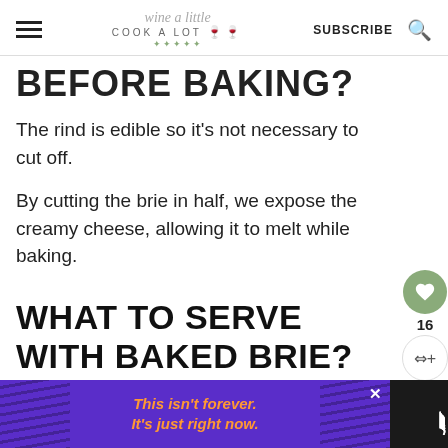wine a little cook a lot | SUBSCRIBE
BEFORE BAKING?
The rind is edible so it's not necessary to cut off.
By cutting the brie in half, we expose the creamy cheese, allowing it to melt while baking.
WHAT TO SERVE WITH BAKED BRIE?
[Figure (other): Advertisement banner with purple/violet background and diagonal stripes, orange italic text reading 'This isn't forever. It's just right now.' with a close button X and weather widget showing 'W°']